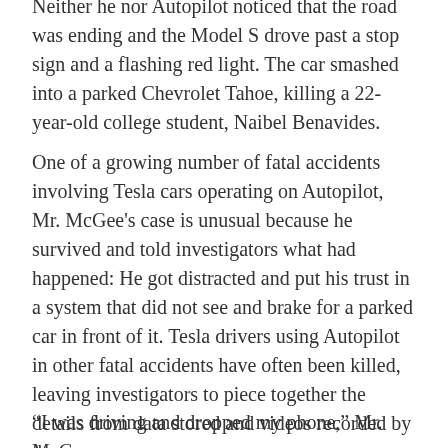Neither he nor Autopilot noticed that the road was ending and the Model S drove past a stop sign and a flashing red light. The car smashed into a parked Chevrolet Tahoe, killing a 22-year-old college student, Naibel Benavides.
One of a growing number of fatal accidents involving Tesla cars operating on Autopilot, Mr. McGee's case is unusual because he survived and told investigators what had happened: He got distracted and put his trust in a system that did not see and brake for a parked car in front of it. Tesla drivers using Autopilot in other fatal accidents have often been killed, leaving investigators to piece together the details from data stored and videos recorded by the cars.
“I was driving and dropped my phone,” Mr. McGee